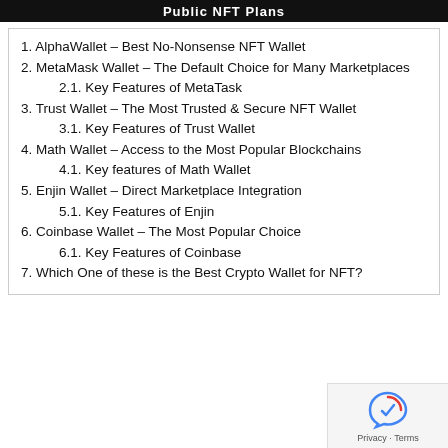Public NFT Plans
1. AlphaWallet – Best No-Nonsense NFT Wallet
2. MetaMask Wallet – The Default Choice for Many Marketplaces
2.1. Key Features of MetaTask
3. Trust Wallet – The Most Trusted & Secure NFT Wallet
3.1. Key Features of Trust Wallet
4. Math Wallet – Access to the Most Popular Blockchains
4.1. Key features of Math Wallet
5. Enjin Wallet – Direct Marketplace Integration
5.1. Key Features of Enjin
6. Coinbase Wallet – The Most Popular Choice
6.1. Key Features of Coinbase
7. Which One of these is the Best Crypto Wallet for NFT?